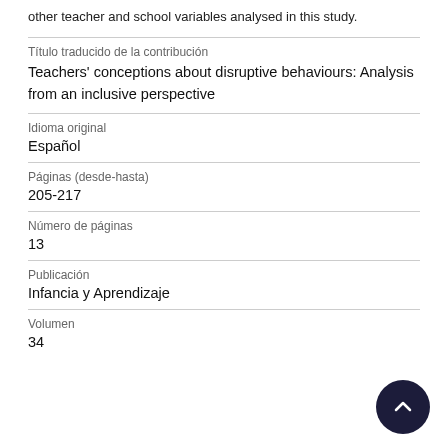other teacher and school variables analysed in this study.
| Field | Value |
| --- | --- |
| Título traducido de la contribución | Teachers' conceptions about disruptive behaviours: Analysis from an inclusive perspective |
| Idioma original | Español |
| Páginas (desde-hasta) | 205-217 |
| Número de páginas | 13 |
| Publicación | Infancia y Aprendizaje |
| Volumen | 34 |